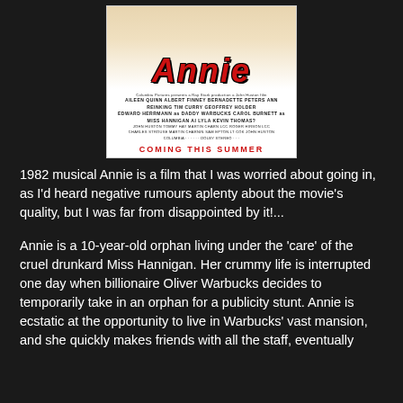[Figure (photo): Movie poster for the 1982 musical Annie. Shows the Annie title in large red italic letters, with credits text below and 'COMING THIS SUMMER' in red at the bottom.]
1982 musical Annie is a film that I was worried about going in, as I'd heard negative rumours aplenty about the movie's quality, but I was far from disappointed by it!...
Annie is a 10-year-old orphan living under the 'care' of the cruel drunkard Miss Hannigan. Her crummy life is interrupted one day when billionaire Oliver Warbucks decides to temporarily take in an orphan for a publicity stunt. Annie is ecstatic at the opportunity to live in Warbucks' vast mansion, and she quickly makes friends with all the staff, eventually